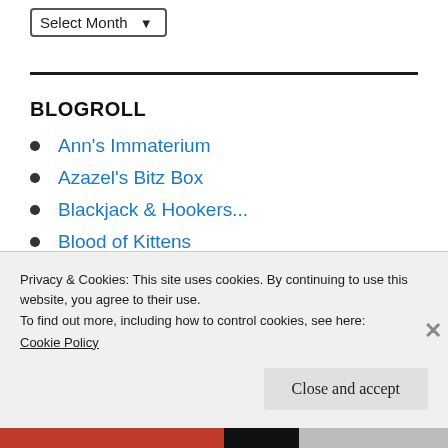Select Month
BLOGROLL
Ann's Immaterium
Azazel's Bitz Box
Blackjack & Hookers...
Blood of Kittens
Bolt Thrower official site
Privacy & Cookies: This site uses cookies. By continuing to use this website, you agree to their use. To find out more, including how to control cookies, see here: Cookie Policy
Close and accept